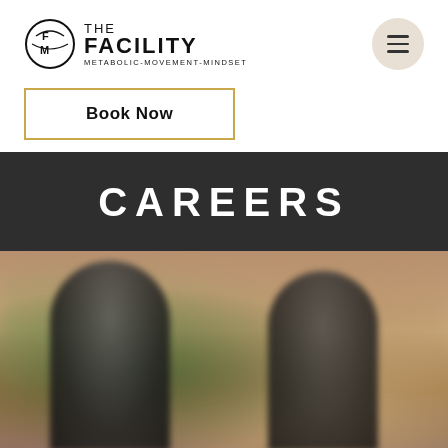[Figure (logo): The Facility logo with circular FM icon and text THE FACILITY / METABOLIC-MOVEMENT-MINDSET]
[Figure (other): Hamburger menu button, circular beige background with three horizontal lines]
Book Now
CAREERS
[Figure (photo): Blurred photo of two people wearing black t-shirts, standing in front of a warm-toned background with greenery]